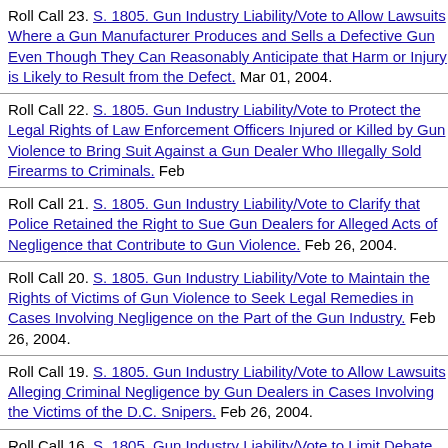Roll Call 23. S. 1805. Gun Industry Liability/Vote to Allow Lawsuits Where a Gun Manufacturer Produces and Sells a Defective Gun Even Though They Can Reasonably Anticipate that Harm or Injury is Likely to Result from the Defect. Mar 01, 2004.
Roll Call 22. S. 1805. Gun Industry Liability/Vote to Protect the Legal Rights of Law Enforcement Officers Injured or Killed by Gun Violence to Bring Suit Against a Gun Dealer Who Illegally Sold Firearms to Criminals. Feb...
Roll Call 21. S. 1805. Gun Industry Liability/Vote to Clarify that Police Retained the Right to Sue Gun Dealers for Alleged Acts of Negligence that Contribute to Gun Violence. Feb 26, 2004.
Roll Call 20. S. 1805. Gun Industry Liability/Vote to Maintain the Rights of Victims of Gun Violence to Seek Legal Remedies in Cases Involving Negligence on the Part of the Gun Industry. Feb 26, 2004.
Roll Call 19. S. 1805. Gun Industry Liability/Vote to Allow Lawsuits Alleging Criminal Negligence by Gun Dealers in Cases Involving the Victims of the D.C. Snipers. Feb 26, 2004.
Roll Call 16. S. 1805. Gun Industry Liability/Vote to Limit Debate On Amendments To Legislation Which Would Impose Caps on Awards in Lawsuits Involving Negligence On the Part of the Gun Industry. Feb...